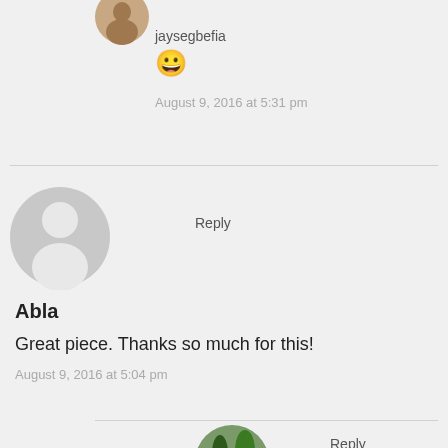jaysegbefia
😀
August 9, 2016 at 5:31 pm
[Figure (illustration): Default grey avatar icon (silhouette of a person)]
Reply
Abla
Great piece. Thanks so much for this!
August 9, 2016 at 5:04 pm
[Figure (photo): Circular cropped photo showing trees and rocky landscape]
Reply